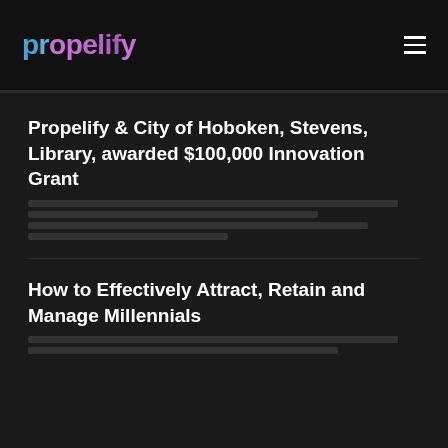propelify
Propelify & City of Hoboken, Stevens, Library, awarded $100,000 Innovation Grant
article meta text (faded/redacted)
How to Effectively Attract, Retain and Manage Millennials
article meta text (faded/redacted)